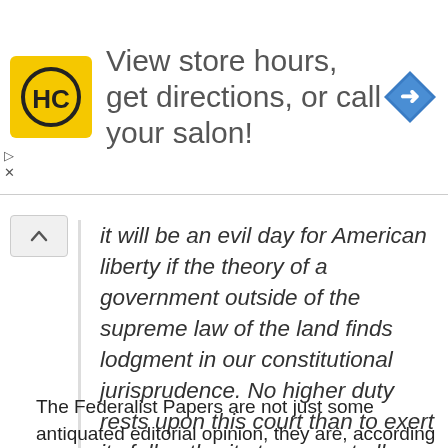[Figure (infographic): Advertisement banner: HC logo (yellow square with HC text), text 'View store hours, get directions, or call your salon!', blue navigation arrow icon on the right. Small arrow and X controls below left.]
It will be an evil day for American liberty if the theory of a government outside of the supreme law of the land finds lodgment in our constitutional jurisprudence. No higher duty rests upon this court than to exert its full authority to prevent all violation of the principles of the Constitution.”
The Federalist Papers are not just some antiquated editorial opinion, they are, according